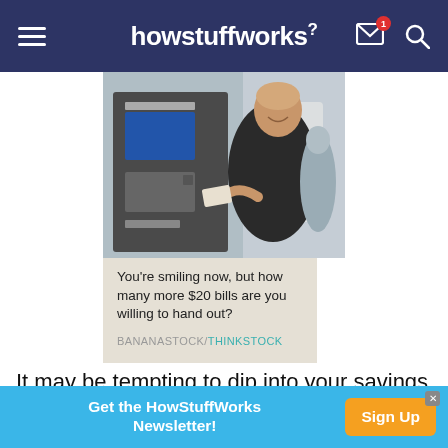howstuffworks
[Figure (photo): A man in a dark suit smiling while using an ATM machine outdoors.]
You're smiling now, but how many more $20 bills are you willing to hand out? BANANASTOCK/THINKSTOCK
It may be tempting to dip into your savings to help your kid get back on her feet. But, unless you've got
Get the HowStuffWorks Newsletter! Sign Up